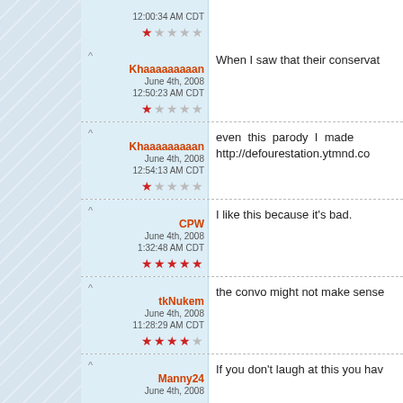12:00:34 AM CDT, 1 star rating
Khaaaaaaaaan, June 4th, 2008, 12:50:23 AM CDT, 1 star — When I saw that their conservat
Khaaaaaaaaan, June 4th, 2008, 12:54:13 AM CDT, 1 star — even this parody I made http://defourestation.ytmnd.co
CPW, June 4th, 2008, 1:32:48 AM CDT, 5 stars — I like this because it's bad.
tkNukem, June 4th, 2008, 11:28:29 AM CDT, 4 stars — the convo might not make sense
Manny24 — If you don't laugh at this you hav